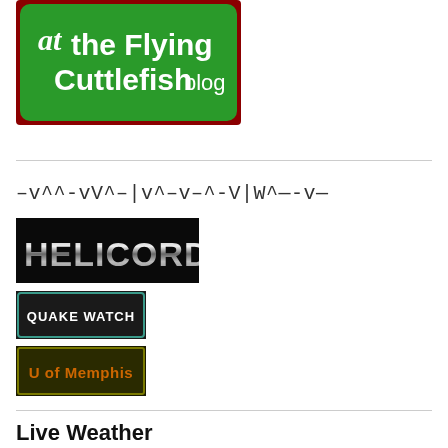[Figure (logo): Flying Cuttlefish blog logo - green rounded rectangle with script 'at' text and 'the Flying Cuttlefish blog' in white text on green background with red border]
–v^^-vV^–|v^–v–^-V|W^—-v—
[Figure (logo): HELICORDERS banner - dark/black background with metallic chrome-style text reading HELICORDERS]
[Figure (logo): QUAKE WATCH button - dark background with teal/cyan border and white text reading QUAKE WATCH]
[Figure (logo): U of Memphis button - dark olive/green background with orange text reading U of Memphis]
Live Weather
Click for weather forecast
[Figure (other): Current Moon moon phase widget - dark background with text CURRENT MOON and moon phase]